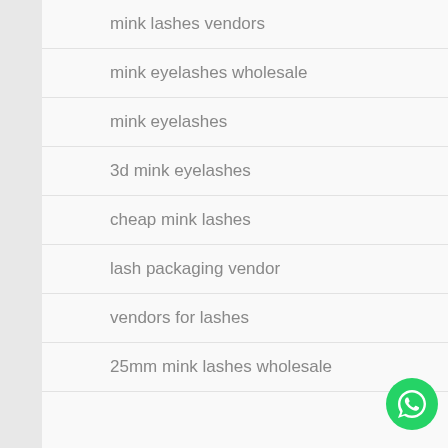mink lashes vendors
mink eyelashes wholesale
mink eyelashes
3d mink eyelashes
cheap mink lashes
lash packaging vendor
vendors for lashes
25mm mink lashes wholesale
[Figure (logo): WhatsApp contact button - green circle with white phone handset icon]